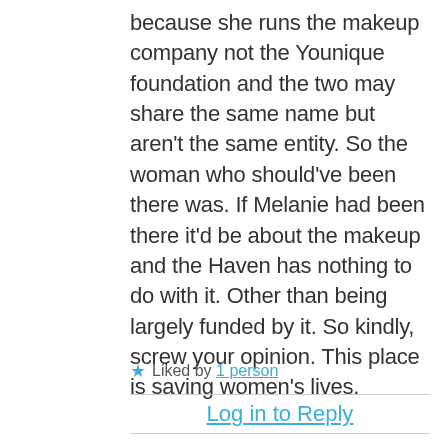because she runs the makeup company not the Younique foundation and the two may share the same name but aren't the same entity. So the woman who should've been there was. If Melanie had been there it'd be about the makeup and the Haven has nothing to do with it. Other than being largely funded by it. So kindly, screw your opinion. This place is saving women's lives.
★ Liked by 1 person
Log in to Reply